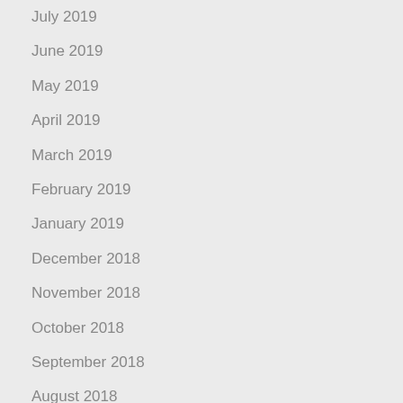July 2019
June 2019
May 2019
April 2019
March 2019
February 2019
January 2019
December 2018
November 2018
October 2018
September 2018
August 2018
July 2018
June 2018
May 2018
April 2018
March 2018